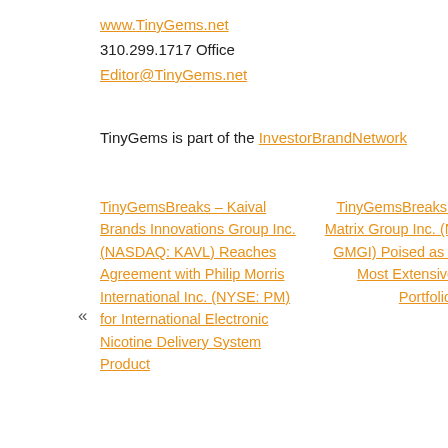www.TinyGems.net
310.299.1717 Office
Editor@TinyGems.net
TinyGems is part of the InvestorBrandNetwork
TinyGemsBreaks – Kaival Brands Innovations Group Inc. (NASDAQ: KAVL) Reaches Agreement with Philip Morris International Inc. (NYSE: PM) for International Electronic Nicotine Delivery System Product
TinyGemsBreaks – Golden Matrix Group Inc. (NASDAQ: GMGI) Poised as Industry's Most Extensive Gaming Portfolio Provider